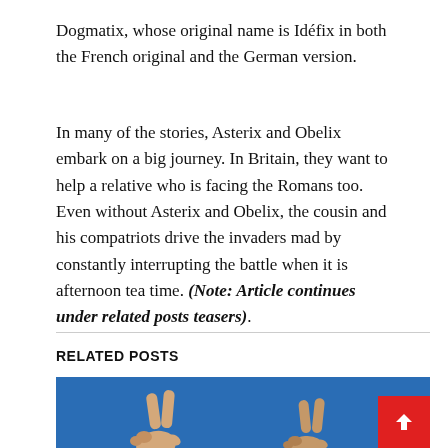Dogmatix, whose original name is Idéfix in both the French original and the German version.
In many of the stories, Asterix and Obelix embark on a big journey. In Britain, they want to help a relative who is facing the Romans too. Even without Asterix and Obelix, the cousin and his compatriots drive the invaders mad by constantly interrupting the battle when it is afternoon tea time. (Note: Article continues under related posts teasers).
RELATED POSTS
[Figure (photo): Two hands making peace/victory signs against a blue background]